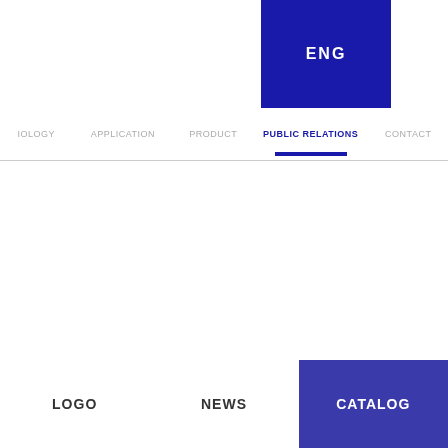ENG
IOLOGY  APPLICATION  PRODUCT  PUBLIC RELATIONS  CONTACT
LOGO  NEWS  CATALOG